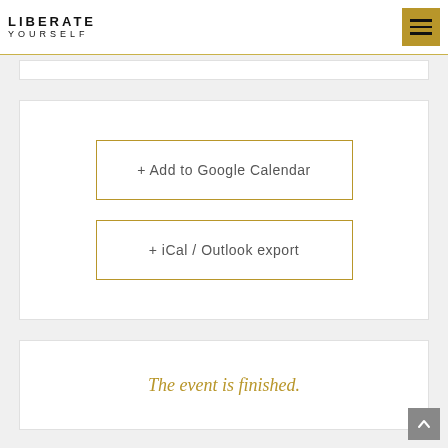LIBERATE YOURSELF
[Figure (screenshot): Hamburger menu icon button with gold/dark yellow background]
+ Add to Google Calendar
+ iCal / Outlook export
The event is finished.